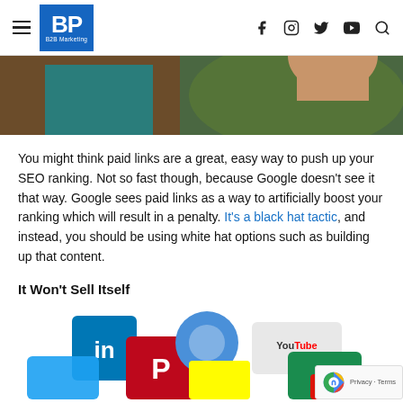BP B2B Marketing — navigation header with hamburger menu, logo, and social icons (f, Instagram, Twitter, YouTube, Search)
[Figure (photo): Partial hero image showing abstract shapes in brown, teal, dark green and a skin-toned hand, cropped at the top of the content area.]
You might think paid links are a great, easy way to push up your SEO ranking. Not so fast though, because Google doesn't see it that way. Google sees paid links as a way to artificially boost your ranking which will result in a penalty. It's a black hat tactic, and instead, you should be using white hat options such as building up that content.
It Won't Sell Itself
[Figure (photo): Photo of colorful 3D cubes with social media logos on them: LinkedIn, Pinterest, Twitter, YouTube, Snapchat, and others, scattered on a white background.]